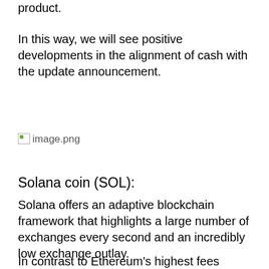product.
In this way, we will see positive developments in the alignment of cash with the update announcement.
[Figure (other): Broken/missing image placeholder labeled 'image.png']
Solana coin (SOL):
Solana offers an adaptive blockchain framework that highlights a large number of exchanges every second and an incredibly low exchange outlay.
In contrast to Ethereum's highest fees